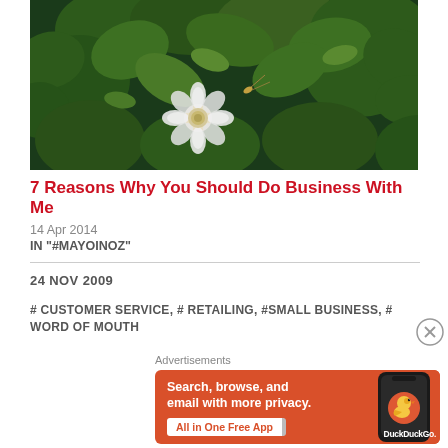[Figure (photo): Close-up photo of a white flower with green leaves background]
7 Reasons Why You Should Do Business With Me
14 Apr 2014
IN "#MAYOINOZ"
24 NOV 2009
# CUSTOMER SERVICE, # RETAILING, #SMALL BUSINESS, # WORD OF MOUTH
Advertisements
[Figure (infographic): DuckDuckGo advertisement: Search, browse, and email with more privacy. All in One Free App]